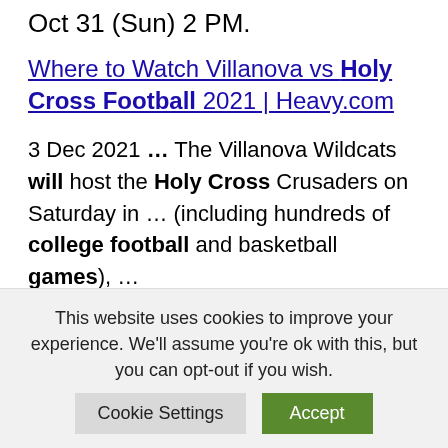Oct 31 (Sun) 2 PM.
Where to Watch Villanova vs Holy Cross Football 2021 | Heavy.com
3 Dec 2021 … The Villanova Wildcats will host the Holy Cross Crusaders on Saturday in … (including hundreds of college football and basketball games), …
How to Watch The Holy Cross Crusaders Live Without Cable in …
This website uses cookies to improve your experience. We'll assume you're ok with this, but you can opt-out if you wish.
Cookie Settings
Accept